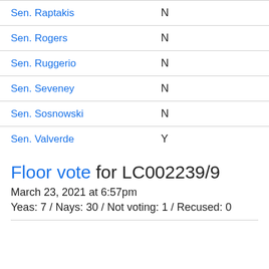| Senator | Vote |
| --- | --- |
| Sen. Raptakis | N |
| Sen. Rogers | N |
| Sen. Ruggerio | N |
| Sen. Seveney | N |
| Sen. Sosnowski | N |
| Sen. Valverde | Y |
Floor vote for LC002239/9
March 23, 2021 at 6:57pm
Yeas: 7 / Nays: 30 / Not voting: 1 / Recused: 0
…